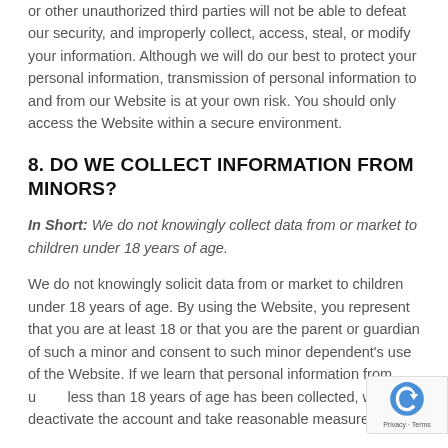or other unauthorized third parties will not be able to defeat our security, and improperly collect, access, steal, or modify your information. Although we will do our best to protect your personal information, transmission of personal information to and from our Website is at your own risk. You should only access the Website within a secure environment.
8. DO WE COLLECT INFORMATION FROM MINORS?
In Short: We do not knowingly collect data from or market to children under 18 years of age.
We do not knowingly solicit data from or market to children under 18 years of age. By using the Website, you represent that you are at least 18 or that you are the parent or guardian of such a minor and consent to such minor dependent's use of the Website. If we learn that personal information from users less than 18 years of age has been collected, we will deactivate the account and take reasonable measures to